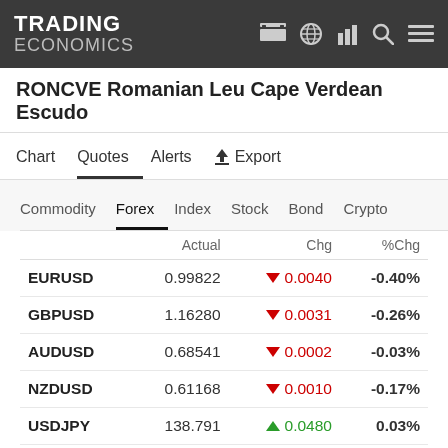TRADING ECONOMICS
RONCVE Romanian Leu Cape Verdean Escudo
Chart | Quotes | Alerts | Export
Commodity | Forex | Index | Stock | Bond | Crypto
|  | Actual | Chg | %Chg |
| --- | --- | --- | --- |
| EURUSD | 0.99822 | ▼ 0.0040 | -0.40% |
| GBPUSD | 1.16280 | ▼ 0.0031 | -0.26% |
| AUDUSD | 0.68541 | ▼ 0.0002 | -0.03% |
| NZDUSD | 0.61168 | ▼ 0.0010 | -0.17% |
| USDJPY | 138.791 | ▲ 0.0480 | 0.03% |
| USDCNY | 6.90684 | ▼ 0.0157 | -0.23% |
| USDCHF | 0.97898 | ▲ 0.0051 | 0.52% |